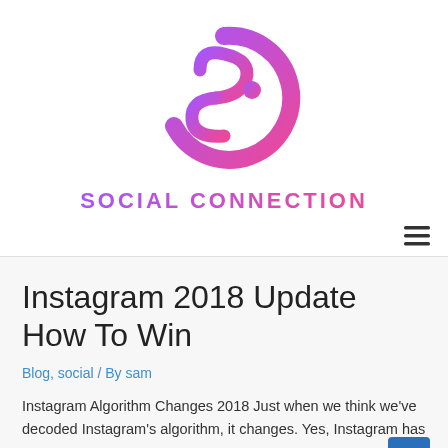[Figure (logo): Social Connection logo — stylized 'SC' monogram in purple-to-pink gradient, circular design]
SOCIAL CONNECTION
[Figure (other): Hamburger menu icon (three horizontal lines) in dark gray, aligned right]
Instagram 2018 Update How To Win
Blog, social / By sam
Instagram Algorithm Changes 2018 Just when we think we've decoded Instagram's algorithm, it changes. Yes, Instagram has